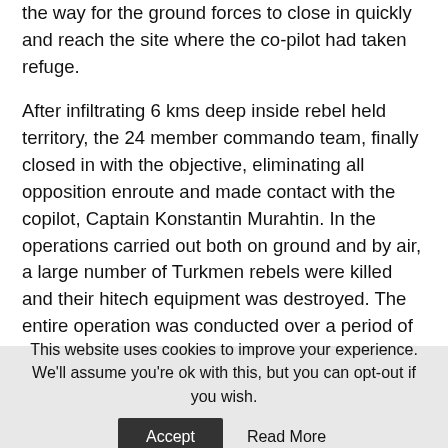the way for the ground forces to close in quickly and reach the site where the co-pilot had taken refuge.

After infiltrating 6 kms deep inside rebel held territory, the 24 member commando team, finally closed in with the objective, eliminating all opposition enroute and made contact with the copilot, Captain Konstantin Murahtin. In the operations carried out both on ground and by air, a large number of Turkmen rebels were killed and their hitech equipment was destroyed. The entire operation was conducted over a period of 12 hours. At its conclusion, at 0040 hours GMT, on 25 November, all the 24 members of the special force returned safely to their base, along with the rescued pilot and the body of Lt Col Oleg Peshkov, without a single casualty. Once out of the area, the
This website uses cookies to improve your experience. We'll assume you're ok with this, but you can opt-out if you wish.